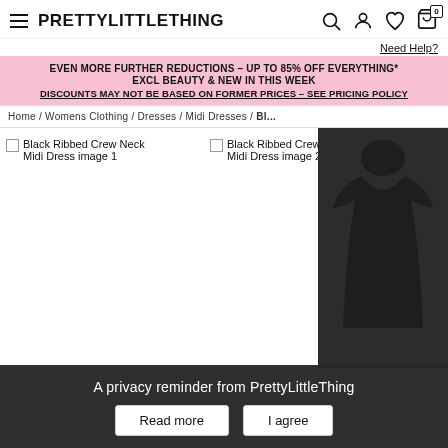PRETTYLITTLETHING
Need Help?
EVEN MORE FURTHER REDUCTIONS – UP TO 85% OFF EVERYTHING* EXCL BEAUTY & NEW IN THIS WEEK DISCOUNTS MAY NOT BE BASED ON FORMER PRICES – SEE PRICING POLICY
Home / Womens Clothing / Dresses / Midi Dresses / Bl...
Black Ribbed Crew Neck Midi Dress image 1
Black Ribbed Crew Neck Midi Dress image 2
[Figure (photo): Black ribbed crew neck midi dress partial product photo on right side]
A privacy reminder from PrettyLittleThing
Read more
I agree